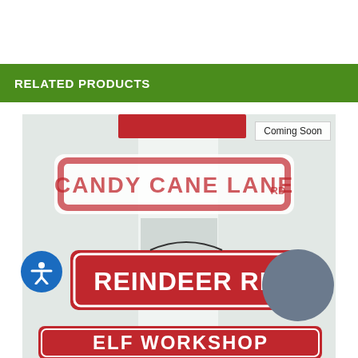RELATED PRODUCTS
[Figure (photo): Photo of decorative Christmas street signs including 'Candy Cane Lane', 'Reindeer RD', and partially visible 'Elf Workshop' sign, displayed against a light background. A 'Coming Soon' badge is visible in the upper right of the image. An accessibility icon button is in the lower left and a gray circle overlay in the lower right.]